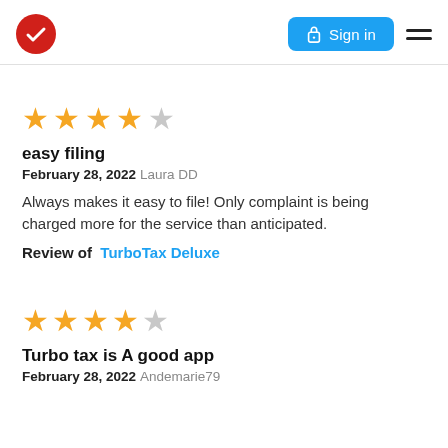Sign in
[Figure (other): 4 out of 5 stars rating]
easy filing
February 28, 2022 Laura DD
Always makes it easy to file! Only complaint is being charged more for the service than anticipated.
Review of TurboTax Deluxe
[Figure (other): 4 out of 5 stars rating]
Turbo tax is A good app
February 28, 2022 Andemarie79